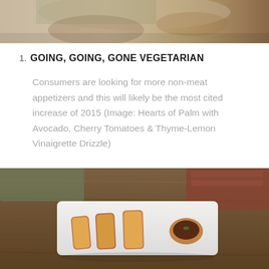[Figure (photo): Top portion of a food photograph showing a colorful dish, partially cropped at the top of the page.]
1. GOING, GOING, GONE VEGETARIAN
Consumers are looking for more non-meat appetizers and this will likely be the most cited increase of 2015 (Image: Hearts of Palm with Avocado, Cherry Tomatoes & Thyme-Lemon Vinaigrette Drizzle)
[Figure (photo): A food photograph showing bacon-wrapped plantain or similar appetizers arranged on a white rectangular plate with a small wooden bowl of dipping sauce, set on a rustic wooden surface.]